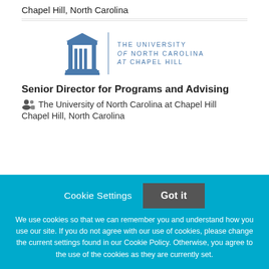Chapel Hill, North Carolina
[Figure (logo): The University of North Carolina at Chapel Hill logo with well building icon and text]
Senior Director for Programs and Advising
The University of North Carolina at Chapel Hill
Chapel Hill, North Carolina
Cookie Settings
Got it
We use cookies so that we can remember you and understand how you use our site. If you do not agree with our use of cookies, please change the current settings found in our Cookie Policy. Otherwise, you agree to the use of the cookies as they are currently set.